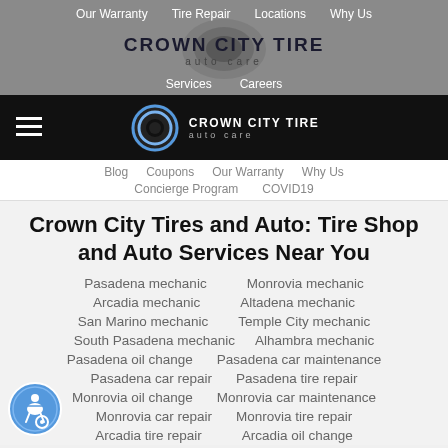Our Warranty  Tire Repair  Locations  Why Us  Services  Careers
[Figure (logo): Crown City Tire Auto Care logo with circular emblem on gray background]
Crown City Tire auto care (mobile nav with hamburger menu)
Blog  Coupons  Our Warranty  Why Us  Concierge Program  COVID19
Crown City Tires and Auto: Tire Shop and Auto Services Near You
Pasadena mechanic
Monrovia mechanic
Arcadia mechanic
Altadena mechanic
San Marino mechanic
Temple City mechanic
South Pasadena mechanic
Alhambra mechanic
Pasadena oil change
Pasadena car maintenance
Pasadena car repair
Pasadena tire repair
Monrovia oil change
Monrovia car maintenance
Monrovia car repair
Monrovia tire repair
Arcadia tire repair
Arcadia oil change